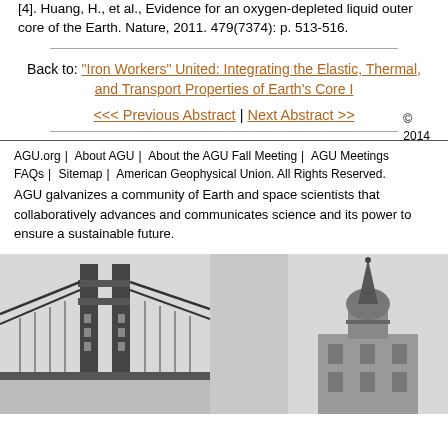[4]. Huang, H., et al., Evidence for an oxygen-depleted liquid outer core of the Earth. Nature, 2011. 479(7374): p. 513-516.
Back to: "Iron Workers" United: Integrating the Elastic, Thermal, and Transport Properties of Earth's Core I
<< Previous Abstract | Next Abstract >>
AGU.org | About AGU | About the AGU Fall Meeting | AGU Meetings | © 2014 FAQs | Sitemap | American Geophysical Union. All Rights Reserved.
AGU galvanizes a community of Earth and space scientists that collaboratively advances and communicates science and its power to ensure a sustainable future.
[Figure (illustration): Grayscale illustration of the Golden Gate Bridge tower on the left, and a historic building tower/steeple on the right, visible at the bottom of the page.]